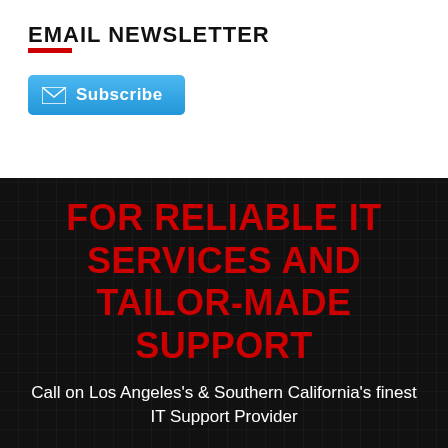EMAIL NEWSLETTER
[Figure (other): Subscribe button with envelope icon on a blue gradient background]
FOR RELIABLE IT SERVICES AND TAILOR-MADE SUPPORT
Call on Los Angeles's & Southern California's finest IT Support Provider